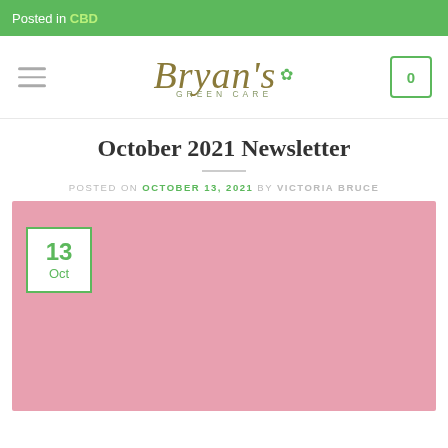Posted in CBD
[Figure (logo): Bryan's Green Care logo with cannabis leaf icon and shopping cart icon, hamburger menu]
October 2021 Newsletter
POSTED ON OCTOBER 13, 2021 BY VICTORIA BRUCE
[Figure (photo): Pink background image with a date box showing '13 Oct' in green on white background with green border]